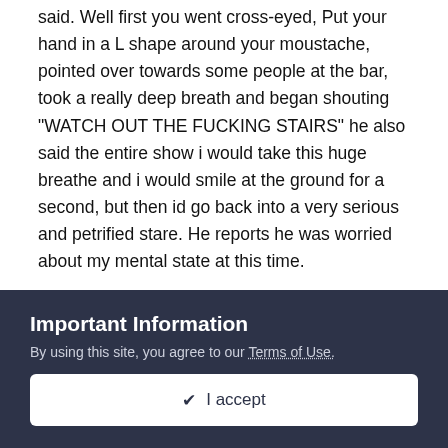said. Well first you went cross-eyed, Put your hand in a L shape around your moustache, pointed over towards some people at the bar, took a really deep breath and began shouting "WATCH OUT THE FUCKING STAIRS" he also said the entire show i would take this huge breathe and i would smile at the ground for a second, but then id go back into a very serious and petrified stare. He reports he was worried about my mental state at this time.
Now the worst feeling came in, feeling abandoned. I knew that my friends were going to leave without me at this point and be laughing their asses off about it on the way home, yucking it up and shit. I just sat back and accepted it like nothing though, i figured i had already accepted i was dead by this point and my very soul fabric would be stained for the rest of my life. No matter what i did, no matter where i sat or stood, or what
Important Information
By using this site, you agree to our Terms of Use.
✔ I accept